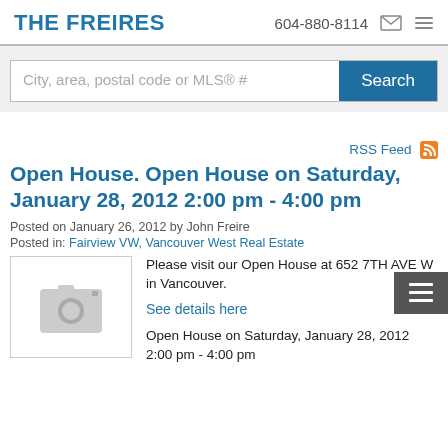THE FREIRES | 604-880-8114
City, area, postal code or MLS® #
Search
RSS Feed
Open House. Open House on Saturday, January 28, 2012 2:00 pm - 4:00 pm
Posted on January 26, 2012 by John Freire
Posted in: Fairview VW, Vancouver West Real Estate
[Figure (photo): Camera placeholder image icon in grey]
Please visit our Open House at 652 7TH AVE W in Vancouver.
See details here
Open House on Saturday, January 28, 2012 2:00 pm - 4:00 pm